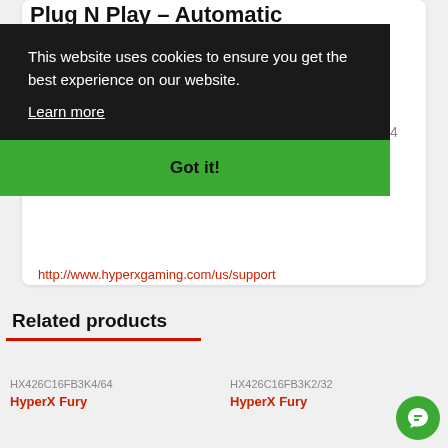Plug N Play – Automatic
This website uses cookies to ensure you get the best experience on our website.
Learn more
Got it!
DDR4
http://www.hyperxgaming.com/us/support
Related products
HX426C16FB3K4/64
HyperX Fury
HX426C16FB3K2/32
HyperX Fury